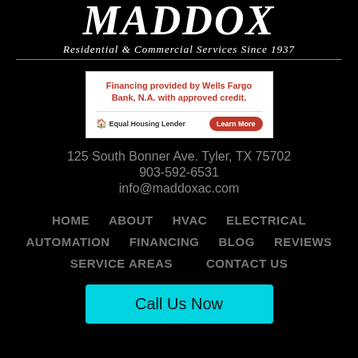MADDOX Residential & Commercial Services Since 1937
[Figure (infographic): Wells Fargo financing banner: 'Financing provided by Wells Fargo Bank, N.A. with approved credit.' with Equal Housing Lender logo and Learn More button]
125 South Bonner Ave. Tyler, TX 75702
903-592-6531
info@maddoxac.com
HOME
ABOUT
HVAC
ELECTRICAL
AUTOMATION
FINANCING
BLOG
REVIEWS
SERVICE AREAS
CONTACT US
Call Us Now